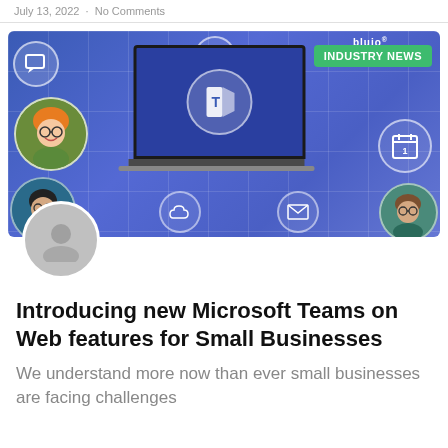July 13, 2022  ·  No Comments
[Figure (illustration): Microsoft Teams promotional illustration showing a laptop with the Microsoft Teams logo on screen, surrounded by circular icons (chat, graph, calendar, cloud, email) and cartoon avatars on a blue gradient background with a grid pattern. An 'INDUSTRY NEWS' green badge is in the top right corner with a 'bluio' logo.]
Introducing new Microsoft Teams on Web features for Small Businesses
We understand more now than ever small businesses are facing challenges